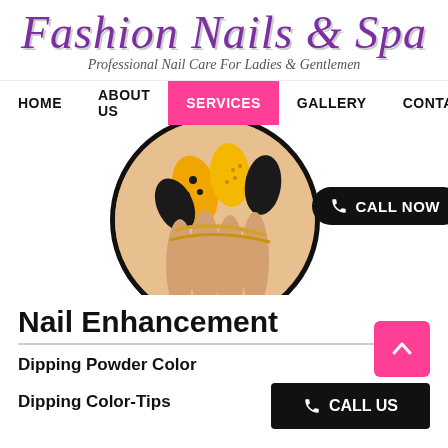Fashion Nails & Spa
Professional Nail Care For Ladies & Gentlemen
HOME   ABOUT US   SERVICES   GALLERY   CONTACT
[Figure (photo): Circular cropped photo of decorated nails in yellow/gold and black colors with a CALL NOW button overlay]
Nail Enhancement
Dipping Powder Color
Dipping Color-Tips